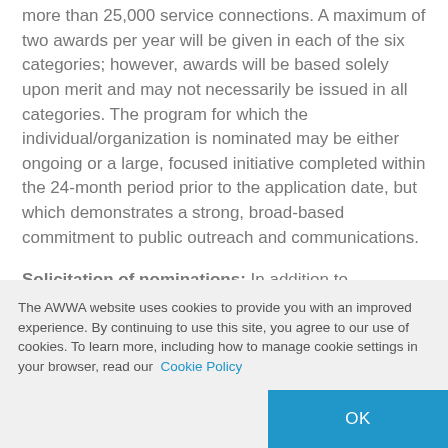more than 25,000 service connections. A maximum of two awards per year will be given in each of the six categories; however, awards will be based solely upon merit and may not necessarily be issued in all categories. The program for which the individual/organization is nominated may be either ongoing or a large, focused initiative completed within the 24-month period prior to the application date, but which demonstrates a strong, broad-based commitment to public outreach and communications.
Solicitation of nominations: In addition to promotional materials at ACE, the Public Affairs
The AWWA website uses cookies to provide you with an improved experience. By continuing to use this site, you agree to our use of cookies. To learn more, including how to manage cookie settings in your browser, read our Cookie Policy